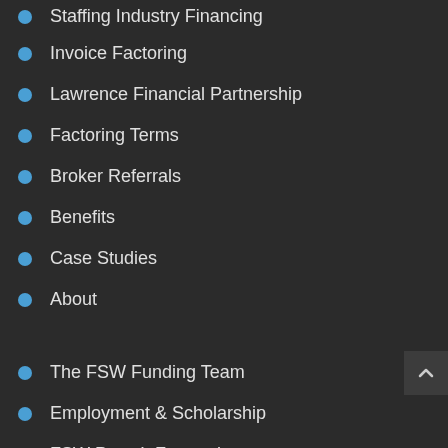Staffing Industry Financing
Invoice Factoring
Lawrence Financial Partnership
Factoring Terms
Broker Referrals
Benefits
Case Studies
About
The FSW Funding Team
Employment & Scholarship
FSW Pays It Forward
Industries We Serve
FAQ
Privacy Policy